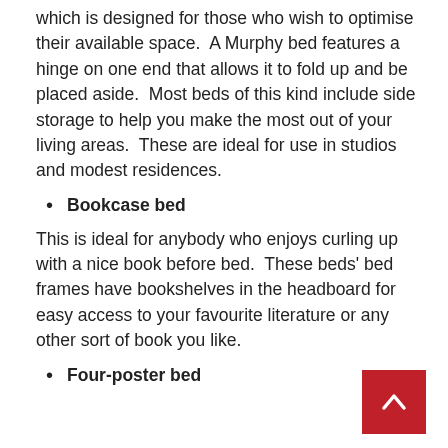which is designed for those who wish to optimise their available space.  A Murphy bed features a hinge on one end that allows it to fold up and be placed aside.  Most beds of this kind include side storage to help you make the most out of your living areas.  These are ideal for use in studios and modest residences.
Bookcase bed
This is ideal for anybody who enjoys curling up with a nice book before bed.  These beds' bed frames have bookshelves in the headboard for easy access to your favourite literature or any other sort of book you like.
Four-poster bed